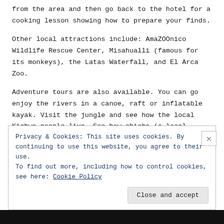from the area and then go back to the hotel for a cooking lesson showing how to prepare your finds.
Other local attractions include: AmaZOOnico Wildlife Rescue Center, Misahualli (famous for its monkeys), the Latas Waterfall, and El Arca Zoo.
Adventure tours are also available. You can go enjoy the rivers in a canoe, raft or inflatable kayak. Visit the jungle and see how the local Kichwa people live. See how chicha (a local fermented drink) and chocolate are made. Check out the caves in the area.
See the Casablanca website for more info and pricing for tours.
Privacy & Cookies: This site uses cookies. By continuing to use this website, you agree to their use.
To find out more, including how to control cookies, see here: Cookie Policy